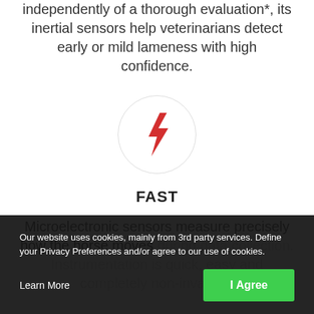independently of a thorough evaluation*, its inertial sensors help veterinarians detect early or mild lameness with high confidence.
[Figure (illustration): A circle with a red lightning bolt icon inside, representing speed/fast.]
FAST
Microelectronic sensors measure precisely how the horse moves during data collection. Instrumentation is quick, easy and completely non-invasive.
Our website uses cookies, mainly from 3rd party services. Define your Privacy Preferences and/or agree to our use of cookies.
Learn More
I Agree